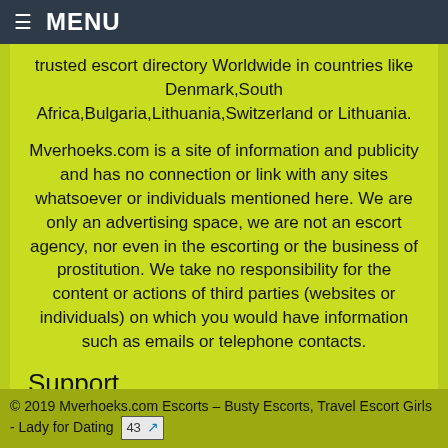MENU
trusted escort directory Worldwide in countries like Denmark,South Africa,Bulgaria,Lithuania,Switzerland or Lithuania.
Mverhoeks.com is a site of information and publicity and has no connection or link with any sites whatsoever or individuals mentioned here. We are only an advertising space, we are not an escort agency, nor even in the escorting or the business of prostitution. We take no responsibility for the content or actions of third parties (websites or individuals) on which you would have information such as emails or telephone contacts.
Support
Contact us
Privacy Policy
FAQ
© 2019 Mverhoeks.com Escorts – Busty Escorts, Travel Escort Girls - Lady for Dating 43